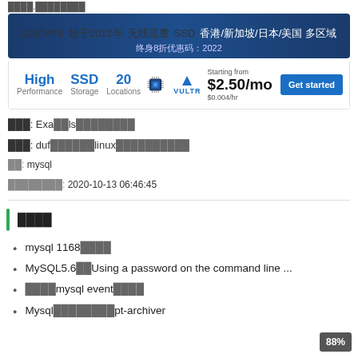████.████████
[Figure (illustration): LOCVPS advertisement banner - blue background with yellow/green text showing LOCVPS brand since 2012, SSD storage, Hong Kong/Singapore/Japan/USA multi-region VPS hosting]
[Figure (illustration): VULTR advertisement - High Performance SSD Storage 20 Locations, chip image, VULTR logo, Starting from $2.50/mo $0.004/hr, Get started button]
███: Exa██ls████████
███: duf██████linux██████████
██: mysql
████████: 2020-10-13 06:46:45
████
mysql 1168████
MySQL5.6██Using a password on the command line ...
████mysql event████
Mysql████████pt-archiver